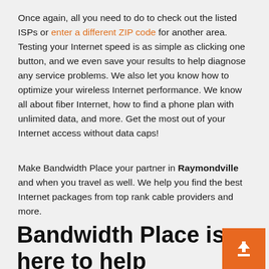Once again, all you need to do to check out the listed ISPs or enter a different ZIP code for another area. Testing your Internet speed is as simple as clicking one button, and we even save your results to help diagnose any service problems. We also let you know how to optimize your wireless Internet performance. We know all about fiber Internet, how to find a phone plan with unlimited data, and more. Get the most out of your Internet access without data caps!
Make Bandwidth Place your partner in Raymondville and when you travel as well. We help you find the best Internet packages from top rank cable providers and more.
Bandwidth Place is here to help